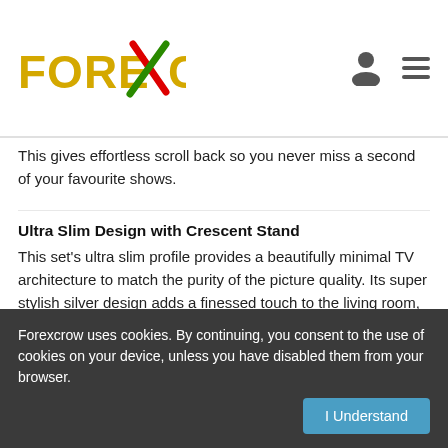FOREXCROW
This gives effortless scroll back so you never miss a second of your favourite shows.
Ultra Slim Design with Crescent Stand
This set's ultra slim profile provides a beautifully minimal TV architecture to match the purity of the picture quality. Its super stylish silver design adds a finessed touch to the living room, looking just as striking on or off. The minimal elegance of the crescent stand enhances the viewing experience and completes the seamless look of a beautifully designed television.
Recently Viewed
Forexcrow uses cookies. By continuing, you consent to the use of cookies on your device, unless you have disabled them from your browser.